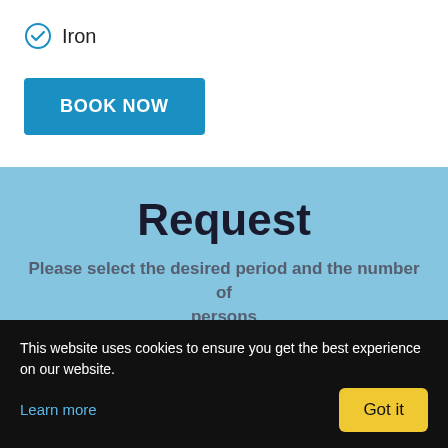Iron
BOOK NOW
Request
Please select the desired period and the number of persons
Villa 150
This website uses cookies to ensure you get the best experience on our website.
Learn more
Got it